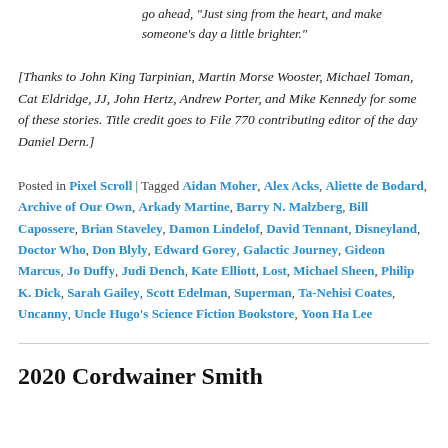go ahead, “Just sing from the heart, and make someone’s day a little brighter.”
[Thanks to John King Tarpinian, Martin Morse Wooster, Michael Toman, Cat Eldridge, JJ, John Hertz, Andrew Porter, and Mike Kennedy for some of these stories. Title credit goes to File 770 contributing editor of the day Daniel Dern.]
Posted in Pixel Scroll | Tagged Aidan Moher, Alex Acks, Aliette de Bodard, Archive of Our Own, Arkady Martine, Barry N. Malzberg, Bill Capossere, Brian Staveley, Damon Lindelof, David Tennant, Disneyland, Doctor Who, Don Blyly, Edward Gorey, Galactic Journey, Gideon Marcus, Jo Duffy, Judi Dench, Kate Elliott, Lost, Michael Sheen, Philip K. Dick, Sarah Gailey, Scott Edelman, Superman, Ta-Nehisi Coates, Uncanny, Uncle Hugo’s Science Fiction Bookstore, Yoon Ha Lee
2020 Cordwainer Smith